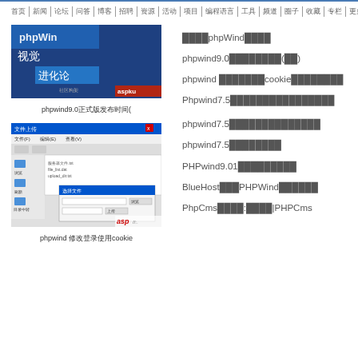首页 | 新闻 | 论坛 | 问答 | 博客 | 招聘 | 资源 | 活动 | 项目 | 编程语言 | 工具 | 频道 | 圈子 | 收藏 | 专栏 | 更多
[Figure (screenshot): phpWind logo/banner image with Chinese text 视觉进化论]
phpwind9.0正式版发布时间(
[Figure (screenshot): Windows file manager / ASP upload dialog screenshot]
phpwind 修改登录使用cookie
如何使用phpWind开发插件
phpwind9.0正式版发布时间(公告)
phpwind 修改登录使用cookie保持用户登录状态
Phpwind7.5仿天涯社区模板免费下载
phpwind7.5社区模版怎么实现宽屏模式
phpwind7.5教程下载
PHPwind9.01版本更新内容
BlueHost如何安装PHPWind程序
PhpCms教程:安装|PHPCms